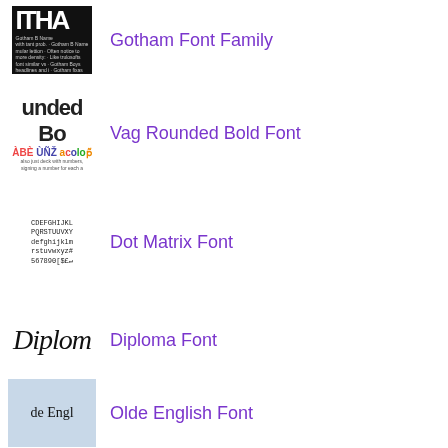[Figure (illustration): Gotham Font Family thumbnail showing bold black text]
Gotham Font Family
[Figure (illustration): Vag Rounded Bold Font thumbnail showing rounded bold letters and colorful characters]
Vag Rounded Bold Font
[Figure (illustration): Dot Matrix Font thumbnail showing alphabet in dot matrix style]
Dot Matrix Font
[Figure (illustration): Diploma Font thumbnail showing italic serif letters]
Diploma Font
[Figure (illustration): Olde English Font thumbnail on blue-grey background]
Olde English Font